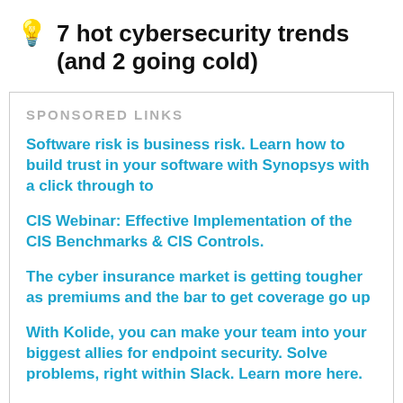💡 7 hot cybersecurity trends (and 2 going cold)
SPONSORED LINKS
Software risk is business risk. Learn how to build trust in your software with Synopsys with a click through to
CIS Webinar: Effective Implementation of the CIS Benchmarks & CIS Controls.
The cyber insurance market is getting tougher as premiums and the bar to get coverage go up
With Kolide, you can make your team into your biggest allies for endpoint security. Solve problems, right within Slack. Learn more here.
Networks have never been more complex and